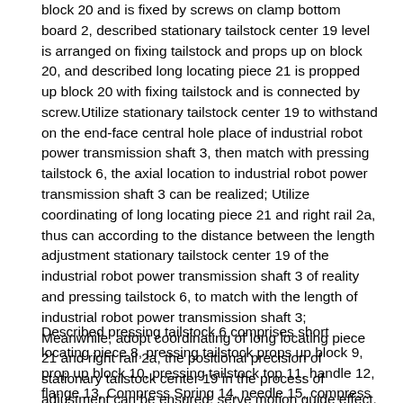block 20 and is fixed by screws on clamp bottom board 2, described stationary tailstock center 19 level is arranged on fixing tailstock and props up on block 20, and described long locating piece 21 is propped up block 20 with fixing tailstock and is connected by screw.Utilize stationary tailstock center 19 to withstand on the end-face central hole place of industrial robot power transmission shaft 3, then match with pressing tailstock 6, the axial location to industrial robot power transmission shaft 3 can be realized; Utilize coordinating of long locating piece 21 and right rail 2a, thus can according to the distance between the length adjustment stationary tailstock center 19 of the industrial robot power transmission shaft 3 of reality and pressing tailstock 6, to match with the length of industrial robot power transmission shaft 3; Meanwhile, adopt coordinating of long locating piece 21 and right rail 2a, the positional precision of stationary tailstock center 19 in the process of adjustment can be ensured, serve motion guide effect.
Described pressing tailstock 6 comprises short locating piece 8, pressing tailstock props up block 9, prop up block 10, pressing tailstock top 11, handle 12, flange 13, Compress Spring 14, needle 15, compress flange 16, tighten